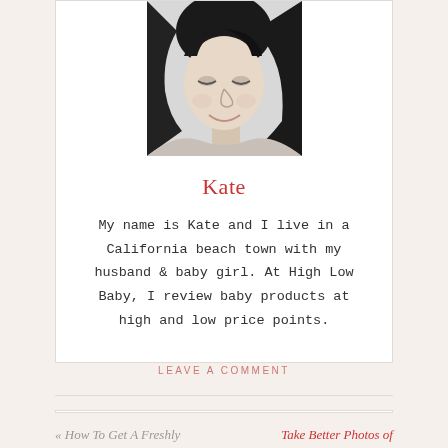[Figure (photo): Black and white portrait photo of a woman smiling, with dark hair, looking down slightly]
Kate
My name is Kate and I live in a California beach town with my husband & baby girl. At High Low Baby, I review baby products at high and low price points.
LEAVE A COMMENT
« How To Get A Freshly
Take Better Photos of